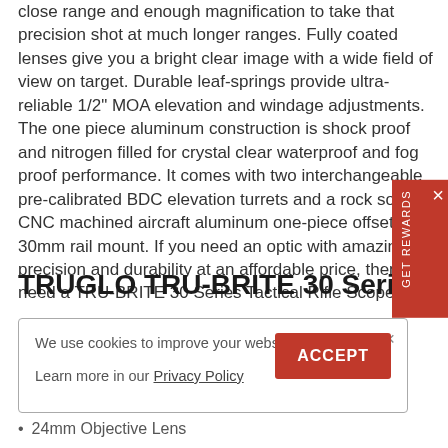close range and enough magnification to take that precision shot at much longer ranges. Fully coated lenses give you a bright clear image with a wide field of view on target. Durable leaf-springs provide ultra-reliable 1/2" MOA elevation and windage adjustments. The one piece aluminum construction is shock proof and nitrogen filled for crystal clear waterproof and fog proof performance. It comes with two interchangeable pre-calibrated BDC elevation turrets and a rock solid CNC machined aircraft aluminum one-piece offset 30mm rail mount. If you need an optic with amazing precision and durability at an affordable price, then you need a TRU-BRITE 30 Series Tactical Rifle Scope.
TRUGLO TRU-BRITE 30 Series Specifications and Features
We use cookies to improve your website experience. Learn more in our Privacy Policy
24mm Objective Lens